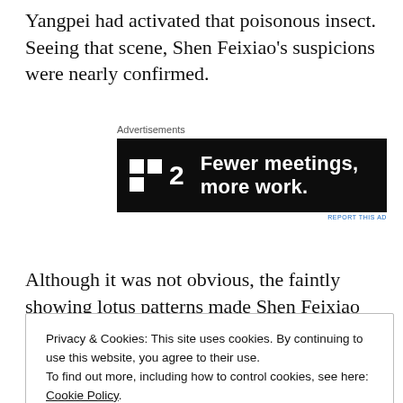Yangpei had activated that poisonous insect. Seeing that scene, Shen Feixiao's suspicions were nearly confirmed.
[Figure (screenshot): Advertisement banner with dark background showing logo '■2' and text 'Fewer meetings, more work.' with small 'REPORT THIS AD' link below.]
Although it was not obvious, the faintly showing lotus patterns made Shen Feixiao eighty percent certain. He didn't know why, but this pattern seemed to be visible
Privacy & Cookies: This site uses cookies. By continuing to use this website, you agree to their use.
To find out more, including how to control cookies, see here: Cookie Policy
Close and accept
the goblet to use, so he could blame...